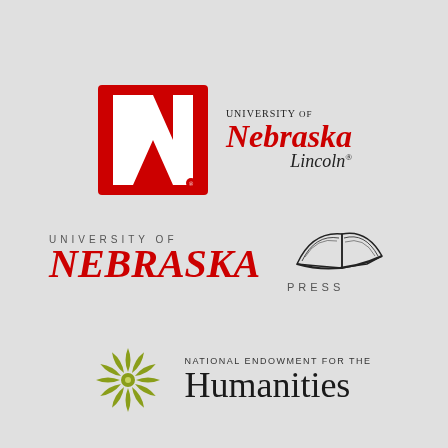[Figure (logo): University of Nebraska–Lincoln logo with red block N and red/black text]
[Figure (logo): University of Nebraska Press logo with open book illustration and spaced letter text]
[Figure (logo): National Endowment for the Humanities logo with olive green sunflower emblem and mixed-size text]